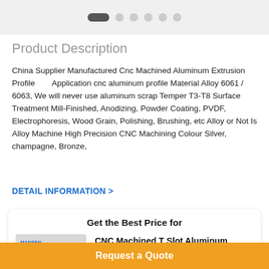[Figure (illustration): Top image carousel area with navigation dots. First dot is selected (pill shape), followed by five circular dots.]
Product Description
China Supplier Manufactured Cnc Machined Aluminum Extrusion Profile　　Application cnc aluminum profile Material Alloy 6061 / 6063, We will never use aluminum scrap Temper T3-T8 Surface Treatment Mill-Finished, Anodizing, Powder Coating, PVDF, Electrophoresis, Wood Grain, Polishing, Brushing, etc Alloy or Not Is Alloy Machine High Precision CNC Machining Colour Silver, champagne, Bronze,
DETAIL INFORMATION >
Get the Best Price for
[Figure (photo): Product photo of CNC machined aluminum T-slot extrusion profiles stacked together, with MANSEN logo in top left.]
CNC Machined T Slot Aluminum Extrusions
MOQ：1000kg cnc aluminium extrusion
Price：To be negotiated
Request a Quote